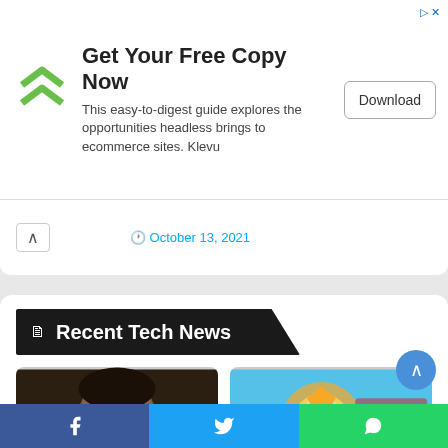[Figure (screenshot): Advertisement banner: green double-chevron logo, 'Get Your Free Copy Now' heading, descriptive text about headless ecommerce guide by Klevu, and a Download button]
October 13, 2021
Recent Tech News
[Figure (photo): Photo of Raju Srivastava, a man in a dark suit against dark background]
[Figure (illustration): Illustration for Shri Krishna Baal Leela show on Star Bharat at 10:30pm, featuring animated baby Krishna with halo and peacock]
Raju Srivastava's wife has dismissed all the rumors; he's stable and doctors
Star Bharat to play a Maha episode of 3 hours 'Shri Krishna Baal Leela'